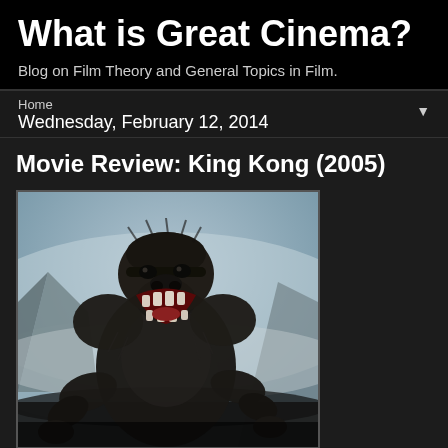What is Great Cinema?
Blog on Film Theory and General Topics in Film.
Home
Wednesday, February 12, 2014
Movie Review: King Kong (2005)
[Figure (photo): King Kong (2005) movie image showing a large gorilla roaring in a misty jungle/mountain setting]